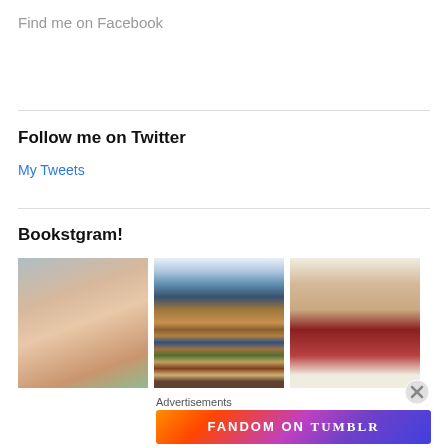Find me on Facebook
Follow me on Twitter
My Tweets
Bookstgram!
[Figure (photo): Three Instagram-style photos: a woman's selfie face close-up, a bookstore shelf with colorful books, and a woman taking a mirror selfie wearing a red tank top]
Advertisements
[Figure (illustration): Fandom on Tumblr advertisement banner with colorful gradient background (orange, pink, purple) and white bold text reading FANDOM ON tumblr]